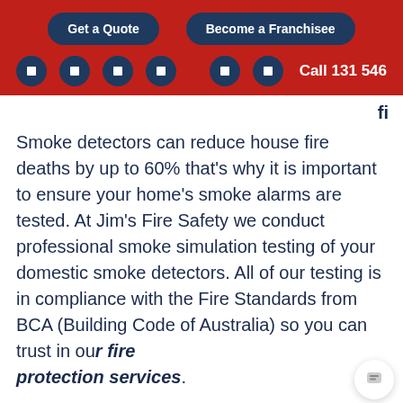Get a Quote
Become a Franchisee
Call 131 546
Smoke detectors can reduce house fire deaths by up to 60% that's why it is important to ensure your home's smoke alarms are tested. At Jim's Fire Safety we conduct professional smoke simulation testing of your domestic smoke detectors. All of our testing is in compliance with the Fire Standards from BCA (Building Code of Australia) so you can trust in our fire protection services.